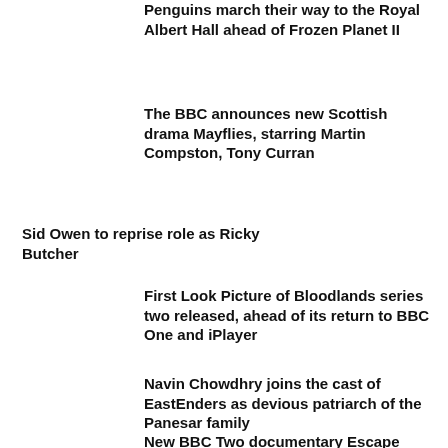Penguins march their way to the Royal Albert Hall ahead of Frozen Planet II
The BBC announces new Scottish drama Mayflies, starring Martin Compston, Tony Curran
Sid Owen to reprise role as Ricky Butcher
First Look Picture of Bloodlands series two released, ahead of its return to BBC One and iPlayer
Navin Chowdhry joins the cast of EastEnders as devious patriarch of the Panesar family
New BBC Two documentary Escape